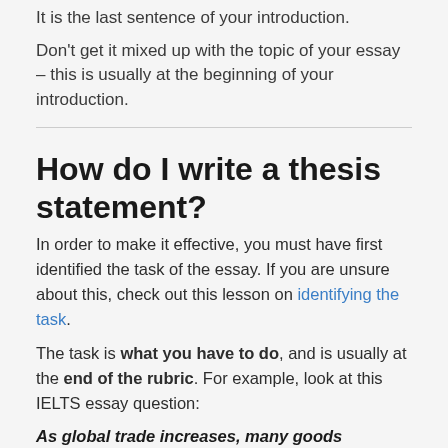It is the last sentence of your introduction.
Don't get it mixed up with the topic of your essay – this is usually at the beginning of your introduction.
How do I write a thesis statement?
In order to make it effective, you must have first identified the task of the essay. If you are unsure about this, check out this lesson on identifying the task.
The task is what you have to do, and is usually at the end of the rubric. For example, look at this IELTS essay question:
As global trade increases, many goods including those we use on a daily basis are produced in other countries and